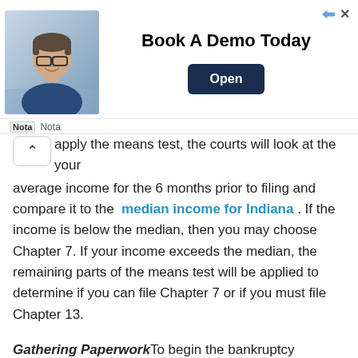[Figure (other): Advertisement banner: Photo of a man in glasses smiling, seated at a desk. Text reads 'Book A Demo Today' with an 'Open' button. Nota logo and name below.]
apply the means test, the courts will look at the your average income for the 6 months prior to filing and compare it to the median income for Indiana . If the income is below the median, then you may choose Chapter 7. If your income exceeds the median, the remaining parts of the means test will be applied to determine if you can file Chapter 7 or if you must file Chapter 13.
Gathering PaperworkTo begin the bankruptcy process you must itemize your current income sources major financial transactions for the last two years monthly living expenses debts and property . You should also collect your tax returns for the last two years, deeds to any real estate you own, your car titles, and the documents for any loans you may have.